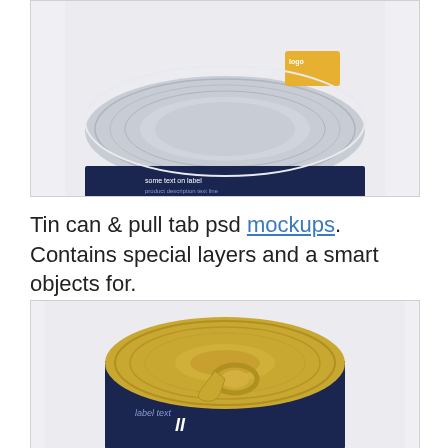[Figure (photo): Top-down view of a tin can with dark navy blue label, showing the top lid of the can with concentric ridges, partially cropped at the top of the image.]
Tin can & pull tab psd mockups. Contains special layers and a smart objects for.
[Figure (photo): Angled top-down view of a gold/metallic tin can with pull tab ring on the lid, showing concentric circular ridges and a dark label around the side, partially cropped at the bottom.]